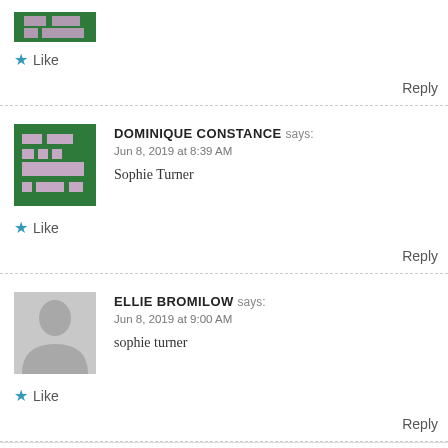[Figure (illustration): Partial avatar image of a pixel-art style green avatar, cropped at top]
Like
Reply
DOMINIQUE CONSTANCE says: Jun 8, 2019 at 8:39 AM
Sophie Turner
[Figure (illustration): Green pixel-art style avatar for Dominique Constance]
Like
Reply
ELLIE BROMILOW says: Jun 8, 2019 at 9:00 AM
sophie turner
[Figure (illustration): Grey silhouette default avatar for Ellie Bromilow]
Like
Reply
Advertisements